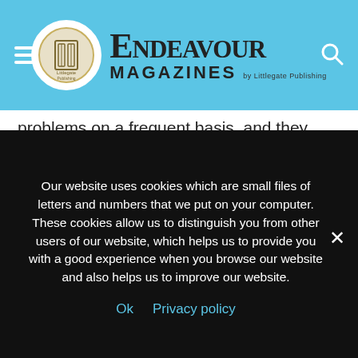Endeavour Magazines by Littlegate Publishing
problems on a frequent basis, and they generally rely largely on charitable donations. The Foodbank app is helping change in this area. Food banks can sign up to a database which will be present in the app's workings. When a local food bank is running low on a particular commodity – and this can include toiletries as well as food – local users will be alerted to this, which can prompt people to make donations. It can also be used by those who need to use these food banks, because stock
Our website uses cookies which are small files of letters and numbers that we put on your computer. These cookies allow us to distinguish you from other users of our website, which helps us to provide you with a good experience when you browse our website and also helps us to improve our website.
Ok   Privacy policy